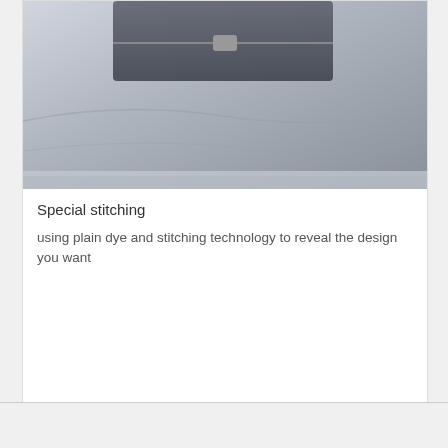[Figure (photo): Close-up photo of grey fabric with stitching detail and zipper, light blue-grey tones]
Special stitching
using plain dye and stitching technology to reveal the design you want
[Figure (other): Chat Online button with red pill-shaped background and white circle icon above]